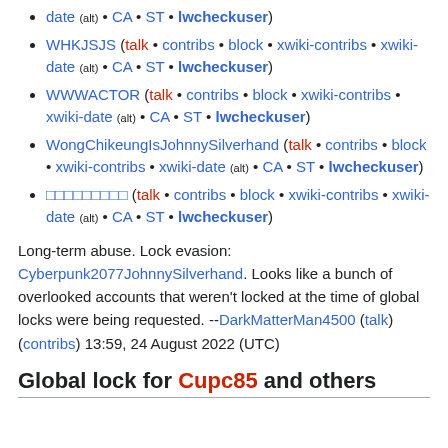date (alt) • CA • ST • lwcheckuser)
WHKJSJS (talk • contribs • block • xwiki-contribs • xwiki-date (alt) • CA • ST • lwcheckuser)
WWWACTOR (talk • contribs • block • xwiki-contribs • xwiki-date (alt) • CA • ST • lwcheckuser)
WongChikeungIsJohnnySilverhand (talk • contribs • block • xwiki-contribs • xwiki-date (alt) • CA • ST • lwcheckuser)
□□□□□□□□□ (talk • contribs • block • xwiki-contribs • xwiki-date (alt) • CA • ST • lwcheckuser)
Long-term abuse. Lock evasion: Cyberpunk2077JohnnySilverhand. Looks like a bunch of overlooked accounts that weren't locked at the time of global locks were being requested. --DarkMatterMan4500 (talk) (contribs) 13:59, 24 August 2022 (UTC)
Global lock for Cupc85 and others